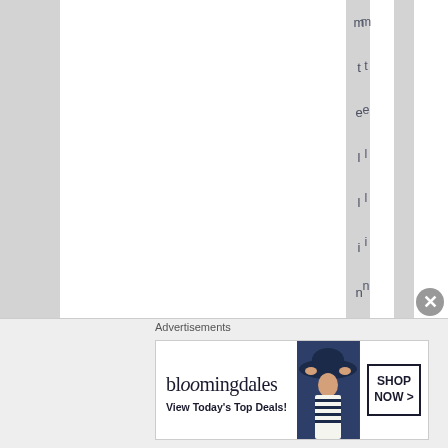[Figure (screenshot): Web page with vertical striped column layout. Vertical text reading 'telling myself tost' displayed character by character down the page. Bottom section shows an advertisement area with Bloomingdales banner ad.]
Advertisements
[Figure (screenshot): Bloomingdales advertisement banner: bloomingdales logo, 'View Today's Top Deals!' tagline, fashion model with large hat, 'SHOP NOW >' button]